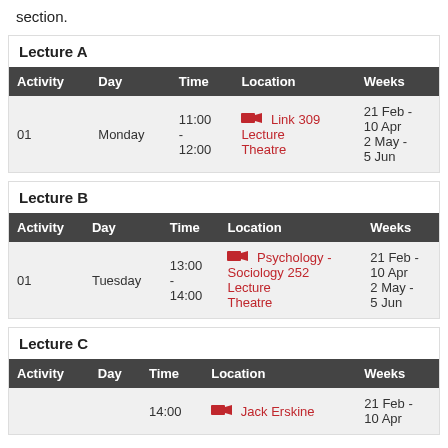section.
Lecture A
| Activity | Day | Time | Location | Weeks |
| --- | --- | --- | --- | --- |
| 01 | Monday | 11:00 - 12:00 | Link 309 Lecture Theatre | 21 Feb - 10 Apr 2 May - 5 Jun |
Lecture B
| Activity | Day | Time | Location | Weeks |
| --- | --- | --- | --- | --- |
| 01 | Tuesday | 13:00 - 14:00 | Psychology - Sociology 252 Lecture Theatre | 21 Feb - 10 Apr 2 May - 5 Jun |
Lecture C
| Activity | Day | Time | Location | Weeks |
| --- | --- | --- | --- | --- |
|  |  | 14:00 | Jack Erskine | 21 Feb - 10 Apr |